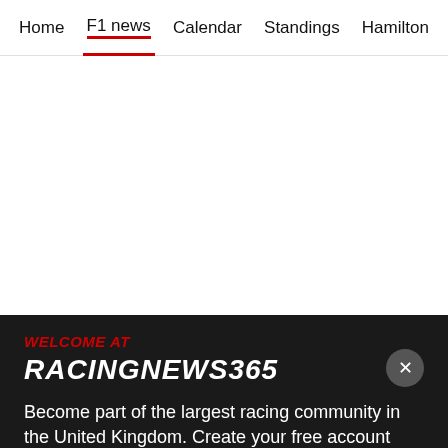Home | F1 news | Calendar | Standings | Hamilton
WELCOME AT RACINGNEWS365
Become part of the largest racing community in the United Kingdom. Create your free account now!